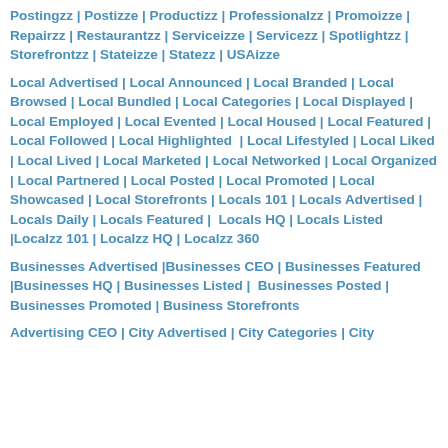Postingzz | Postizze | Productizz | Professionalzz | Promoizze | Repairzz | Restaurantzz | Serviceizze | Servicezz | Spotlightzz | Storefrontzz | Stateizze | Statezz | USAizze
Local Advertised | Local Announced | Local Branded | Local Browsed | Local Bundled | Local Categories | Local Displayed | Local Employed | Local Evented | Local Housed | Local Featured | Local Followed | Local Highlighted | Local Lifestyled | Local Liked | Local Lived | Local Marketed | Local Networked | Local Organized | Local Partnered | Local Posted | Local Promoted | Local Showcased | Local Storefronts | Locals 101 | Locals Advertised | Locals Daily | Locals Featured | Locals HQ | Locals Listed |Localzz 101 | Localzz HQ | Localzz 360
Businesses Advertised |Businesses CEO | Businesses Featured |Businesses HQ | Businesses Listed | Businesses Posted | Businesses Promoted | Business Storefronts
Advertising CEO | City Advertised | City Categories | City